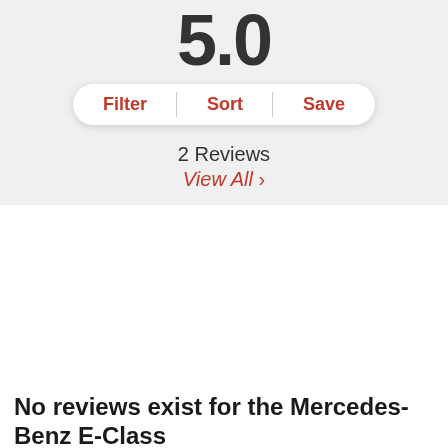5.0
Filter | Sort | Save
2 Reviews
View All >
No reviews exist for the Mercedes-Benz E-Class
[Figure (screenshot): Advertisement banner for New 2022 Mercedes-Benz GLC showing car image, text 'New 2022 Mercedes-Benz GLC', '457 SUV | 4 Miles |', and 'Take a test drive! This New 2022 Mercedes-Benz GLC is ready to be driven. #NG110076' with a right arrow button]